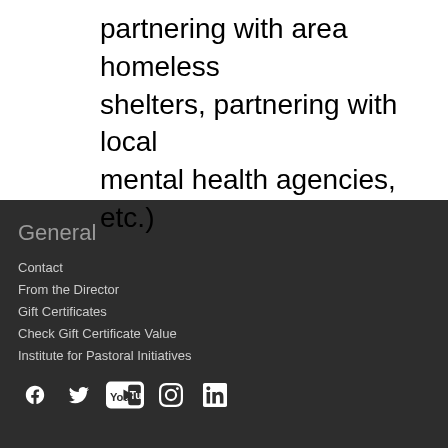partnering with area homeless shelters, partnering with local mental health agencies, etc.)
General
Contact
From the Director
Gift Certificates
Check Gift Certificate Value
Institute for Pastoral Initiatives
[Figure (infographic): Social media icons: Facebook, Twitter, YouTube, Instagram, LinkedIn]